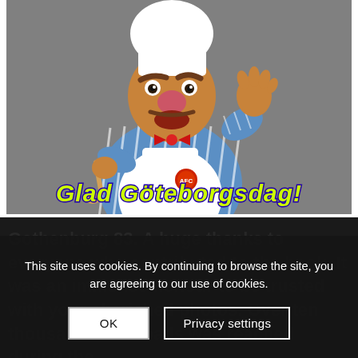[Figure (photo): Swedish Chef Muppet puppet wearing white chef hat, blue striped shirt, white apron with red bowtie, holding a wooden spoon, waving hand, on grey background. Text overlay reads 'Glad Göteborgsdag!' in yellow-green italic bold font with blue outline.]
Gothenburg 83. A huge thanks to everyone who contributed to the book. It was an immense honour to be trusted with your cherished photos. Over ten thousand downloads was reached during the Gothenburg celebrations after the
This site uses cookies. By continuing to browse the site, you are agreeing to our use of cookies.